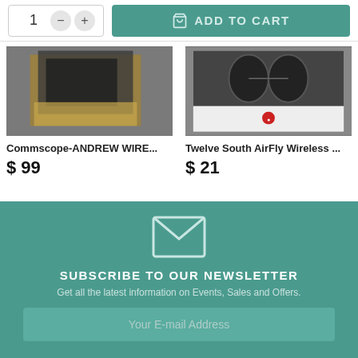[Figure (screenshot): Add to cart UI with quantity selector showing '1', minus and plus buttons, and a teal 'ADD TO CART' button with shopping bag icon]
[Figure (photo): Product image for Commscope-ANDREW WIRE... showing items in a box]
Commscope-ANDREW WIRE...
$ 99
[Figure (photo): Product image for Twelve South AirFly Wireless showing headphones packaging]
Twelve South AirFly Wireless ...
$ 21
SUBSCRIBE TO OUR NEWSLETTER
Get all the latest information on Events, Sales and Offers.
Your E-mail Address